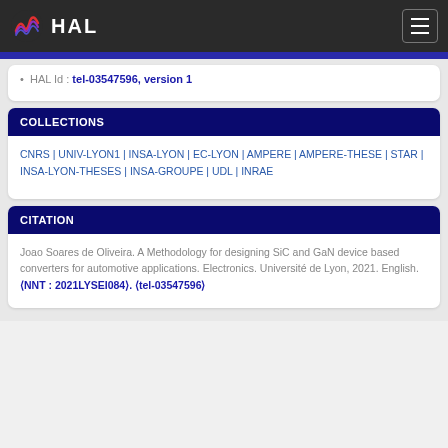HAL
HAL Id : tel-03547596, version 1
COLLECTIONS
CNRS | UNIV-LYON1 | INSA-LYON | EC-LYON | AMPERE | AMPERE-THESE | STAR | INSA-LYON-THESES | INSA-GROUPE | UDL | INRAE
CITATION
Joao Soares de Oliveira. A Methodology for designing SiC and GaN device based converters for automotive applications. Electronics. Université de Lyon, 2021. English. ⟨NNT : 2021LYSEI084⟩. ⟨tel-03547596⟩